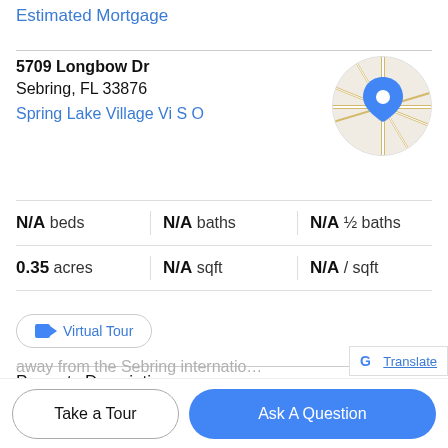Estimated Mortgage
5709 Longbow Dr
Sebring, FL 33876
Spring Lake Village Vi S O
[Figure (map): Circular map thumbnail showing street map with blue location pin marker over Spring Lake Village area in Sebring, FL]
N/A beds | N/A baths | N/A ½ baths | 0.35 acres | N/A sqft | N/A / sqft
Virtual Tour
Property Description
Nice 0.35 acre spacious lot in Spring Lake Village Community, Sebring Florida with great potential for your
away from the Sebring International race away
Take a Tour
Ask A Question
G Translate